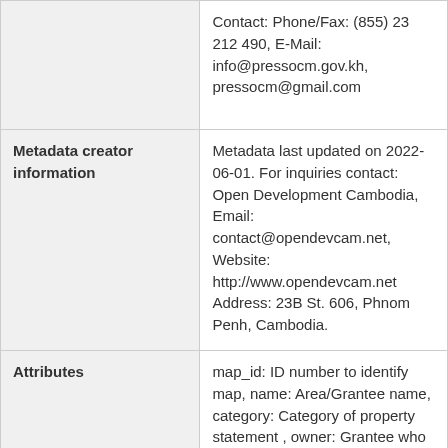|  | Contact: Phone/Fax: (855) 23 212 490, E-Mail: info@pressocm.gov.kh, pressocm@gmail.com |
| Metadata creator information | Metadata last updated on 2022-06-01. For inquiries contact: Open Development Cambodia, Email: contact@opendevcam.net, Website: http://www.opendevcam.net Address: 23B St. 606, Phnom Penh, Cambodia. |
| Attributes | map_id: ID number to identify map, name: Area/Grantee name, category: Category of property statement , owner: Grantee who has |